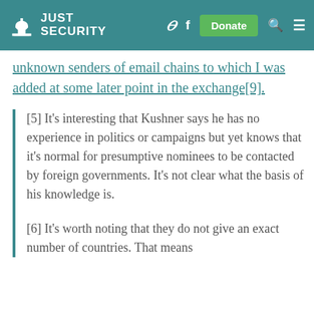JUST SECURITY
unknown senders of email chains to which I was added at some later point in the exchange[9].
[5] It’s interesting that Kushner says he has no experience in politics or campaigns but yet knows that it’s normal for presumptive nominees to be contacted by foreign governments. It’s not clear what the basis of his knowledge is.
[6] It’s worth noting that they do not give an exact number of countries. That means